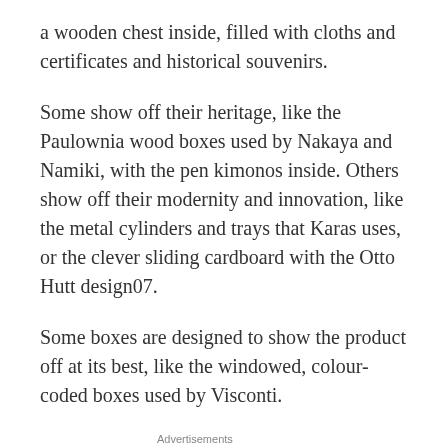a wooden chest inside, filled with cloths and certificates and historical souvenirs.
Some show off their heritage, like the Paulownia wood boxes used by Nakaya and Namiki, with the pen kimonos inside. Others show off their modernity and innovation, like the metal cylinders and trays that Karas uses, or the clever sliding cardboard with the Otto Hutt design07.
Some boxes are designed to show the product off at its best, like the windowed, colour-coded boxes used by Visconti.
Advertisements
[Figure (other): WordPress advertisement banner with text 'Professionally designed sites in less than a week' and WordPress logo]